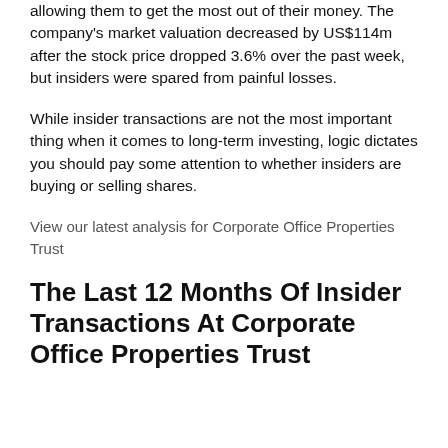allowing them to get the most out of their money. The company's market valuation decreased by US$114m after the stock price dropped 3.6% over the past week, but insiders were spared from painful losses.
While insider transactions are not the most important thing when it comes to long-term investing, logic dictates you should pay some attention to whether insiders are buying or selling shares.
View our latest analysis for Corporate Office Properties Trust
The Last 12 Months Of Insider Transactions At Corporate Office Properties Trust